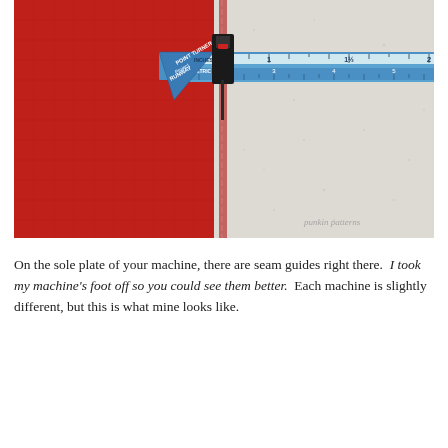[Figure (photo): Close-up photo showing red fabric on a sewing machine sole plate with a white seam line stitched. A blue and white 'Point Turner' ruler/seam guide tool by Project Runway is visible across the top, along with measurement markings in inches and metric. A watermark reads 'punkin patterns' in the lower right corner.]
On the sole plate of your machine, there are seam guides right there.  I took my machine's foot off so you could see them better.  Each machine is slightly different, but this is what mine looks like.